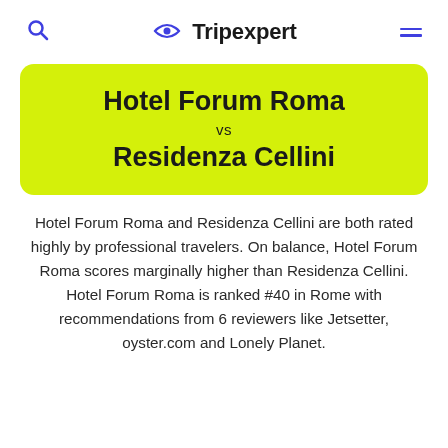Tripexpert
Hotel Forum Roma vs Residenza Cellini
Hotel Forum Roma and Residenza Cellini are both rated highly by professional travelers. On balance, Hotel Forum Roma scores marginally higher than Residenza Cellini. Hotel Forum Roma is ranked #40 in Rome with recommendations from 6 reviewers like Jetsetter, oyster.com and Lonely Planet.